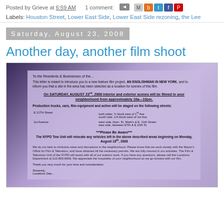Posted by Grieve at 6:59 AM   1 comment:
Labels: Houston Street, Lower East Side, Lower East Side rezoning, the Lee
Saturday, August 23, 2008
Another day, another film shoot
[Figure (photo): Photograph of a purple/lavender letter on paper, addressed to Residents & Businesses, announcing a film shoot for 'AN ENGLISHMAN IN NEW YORK' on Saturday August 23rd 2008, with staging details for E 11th Street and 1st Avenue, and a note about NYPD Tow Unit.]